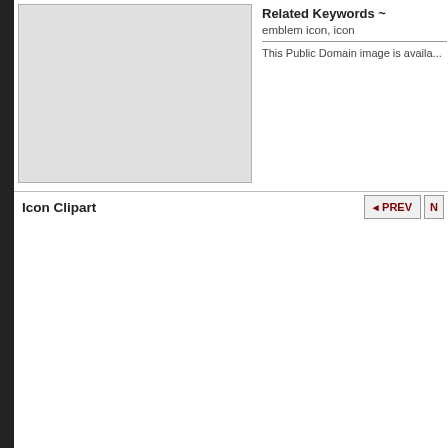[Figure (illustration): Grey placeholder box for clipart image]
Related Keywords ~
emblem icon, icon
This Public Domain image is availa...
Icon Clipart
[Figure (screenshot): PREV navigation button with left arrow]
[Figure (screenshot): N (NEXT) navigation button, partially visible]
Some of this Month's Most Vie...
[Figure (illustration): Pink/magenta document icon clipart with horizontal lines]
[Figure (illustration): Green play button icon clipart]
[Figure (photo): Black and red device/tool photo, partially visible]